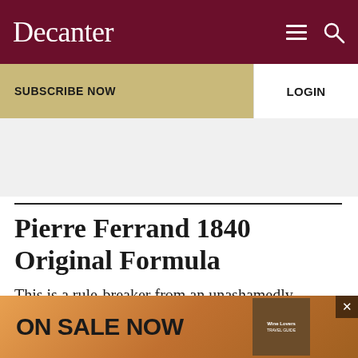Decanter
SUBSCRIBE NOW
LOGIN
[Figure (other): Gray advertisement placeholder banner]
Pierre Ferrand 1840 Original Formula
This is a rule-breaker from an unashamedly iconoclastic producer – a recreation of a 19th-century 'three-star' (VS) Cognac from Grande
[Figure (other): ON SALE NOW advertisement banner with book cover for Wine Lovers Travel Guide]